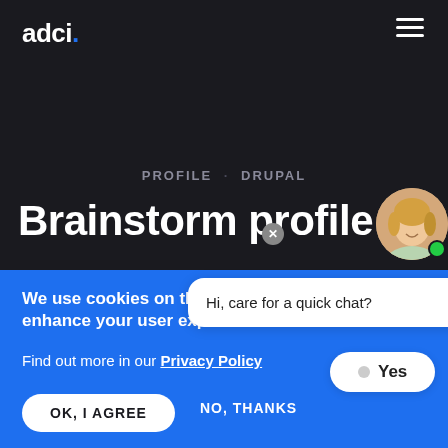adci.
PROFILE · DRUPAL
Brainstorm profile
[Figure (photo): Avatar photo of a smiling blonde woman with green online indicator dot]
Hi, care for a quick chat?
Yes
We use cookies on this site to enhance your user experience
Find out more in our Privacy Policy
OK, I AGREE
NO, THANKS